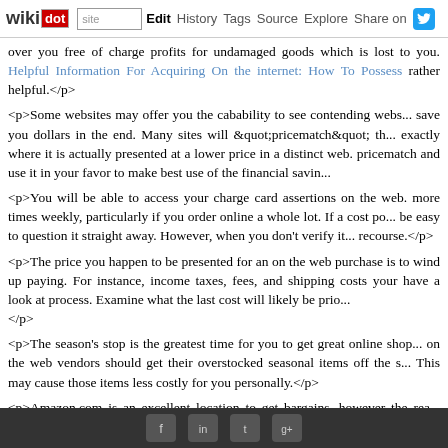wikidot | site | Edit | History | Tags | Source | Explore | Share on [Twitter]
over you free of charge profits for undamaged goods which is lost to you. Helpful Information For Acquiring On the internet: How To Possess rather helpful.</p>

<p>Some websites may offer you the cabability to see contending webs... save you dollars in the end. Many sites will "pricematch" th... exactly where it is actually presented at a lower price in a distinct web. pricematch and use it in your favor to make best use of the financial savin...

<p>You will be able to access your charge card assertions on the web. more times weekly, particularly if you order online a whole lot. If a cost po... be easy to question it straight away. However, when you don't verify it... recourse.</p>

<p>The price you happen to be presented for an on the web purchase is to wind up paying. For instance, income taxes, fees, and shipping costs your have a look at process. Examine what the last cost will likely be prio... </p>

<p>The season's stop is the greatest time for you to get great online shop... on the web vendors should get their overstocked seasonal items off the s... This may cause those items less costly for you personally.</p>

<p>Amazon.com is an excellent location to get bargains, however the rea... offered. Once Methods to Get Essentially the most From your Online Bu... often get an item which happens to be better yet than new as this... merchandise could be costed at extremely significantly lower rates.</p>
[social footer bar]